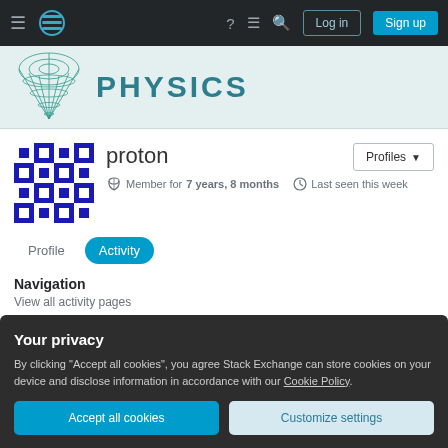Physics Stack Exchange navigation bar with Log in and Sign up buttons
[Figure (screenshot): Physics Stack Exchange site banner with wireframe cone logo and PHYSICS text]
proton
Member for 7 years, 8 months  Last seen this week
Profile  Activity
Navigation
View all activity pages
Your privacy
By clicking "Accept all cookies", you agree Stack Exchange can store cookies on your device and disclose information in accordance with our Cookie Policy.
Accept all cookies  Customize settings
665 votes  ▲ 11 answers  10k views